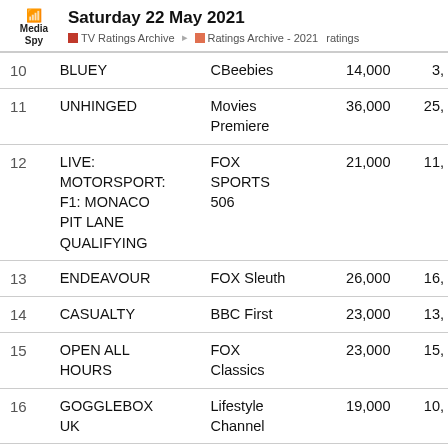Media Spy — Saturday 22 May 2021 — TV Ratings Archive > Ratings Archive - 2021 ratings
| # | Show | Channel | Viewers | Share |
| --- | --- | --- | --- | --- |
| 10 | BLUEY | CBeebies | 14,000 | 3, |
| 11 | UNHINGED | Movies Premiere | 36,000 | 25, |
| 12 | LIVE: MOTORSPORT: F1: MONACO PIT LANE QUALIFYING | FOX SPORTS 506 | 21,000 | 11, |
| 13 | ENDEAVOUR | FOX Sleuth | 26,000 | 16, |
| 14 | CASUALTY | BBC First | 23,000 | 13, |
| 15 | OPEN ALL HOURS | FOX Classics | 23,000 | 15, |
| 16 | GOGGLEBOX UK | Lifestyle Channel | 19,000 | 10, |
| 17 | THE SPONGEBOB SQUAREPANTS | Movies Kids | 9,000 | 1, |